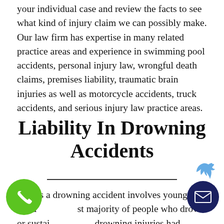your individual case and review the facts to see what kind of injury claim we can possibly make. Our law firm has expertise in many related practice areas and experience in swimming pool accidents, personal injury law, wrongful death claims, premises liability, traumatic brain injuries as well as motorcycle accidents, truck accidents, and serious injury law practice areas.
Liability In Drowning Accidents
Unless a drowning accident involves young chil... vast majority of people who drown or sustai... drowning injuries had swimming lessons...